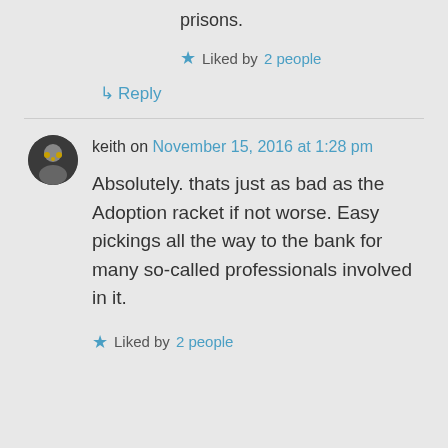prisons.
Liked by 2 people
Reply
keith on November 15, 2016 at 1:28 pm
Absolutely. thats just as bad as the Adoption racket if not worse. Easy pickings all the way to the bank for many so-called professionals involved in it.
Liked by 2 people